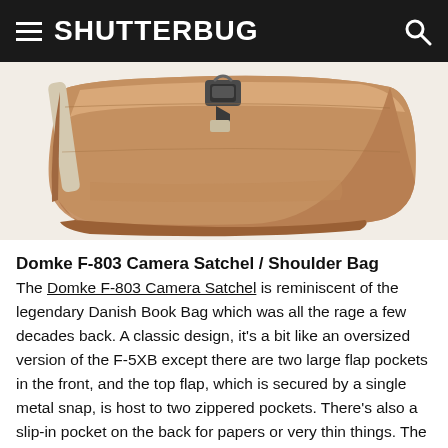SHUTTERBUG
[Figure (photo): Tan/brown Domke F-803 Camera Satchel / Shoulder Bag shown from top-front angle against white background, showing the top flap with metal snap closure and canvas shoulder strap]
Domke F-803 Camera Satchel / Shoulder Bag
The Domke F-803 Camera Satchel is reminiscent of the legendary Danish Book Bag which was all the rage a few decades back. A classic design, it's a bit like an oversized version of the F-5XB except there are two large flap pockets in the front, and the top flap, which is secured by a single metal snap, is host to two zippered pockets. There's also a slip-in pocket on the back for papers or very thin things. The